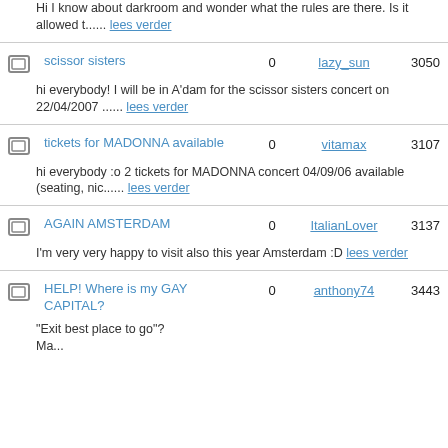Hi I know about darkroom and wonder what the rules are there. Is it allowed t...... lees verder
scissor sisters | 0 | lazy_sun | 3050 | hi everybody! I will be in A'dam for the scissor sisters concert on 22/04/2007 ...... lees verder
tickets for MADONNA available | 0 | vitamax | 3107 | hi everybody :o 2 tickets for MADONNA concert 04/09/06 available (seating, nic...... lees verder
AGAIN AMSTERDAM | 0 | ItalianLover | 3137 | I'm very very happy to visit also this year Amsterdam :D lees verder
HELP! Where is my GAY CAPITAL? | 0 | anthony74 | 3443 | "Exit best place to go"? Ma...